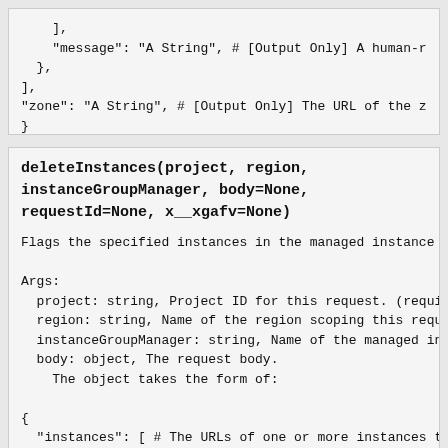],
    "message": "A String", # [Output Only] A human-r
  },
],
"zone": "A String", # [Output Only] The URL of the z
}
deleteInstances(project, region, instanceGroupManager, body=None, requestId=None, x__xgafv=None)
Flags the specified instances in the managed instance

Args:
  project: string, Project ID for this request. (requi
  region: string, Name of the region scoping this requ
  instanceGroupManager: string, Name of the managed in
  body: object, The request body.
    The object takes the form of:

{
  "instances": [ # The URLs of one or more instances t